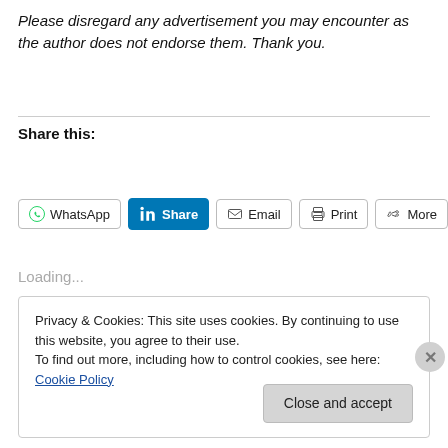Please disregard any advertisement you may encounter as the author does not endorse them. Thank you.
Share this:
[Figure (screenshot): Social share buttons: Pinterest Save (red), WhatsApp, LinkedIn Share (blue), Email, Print, More]
Loading...
Privacy & Cookies: This site uses cookies. By continuing to use this website, you agree to their use.
To find out more, including how to control cookies, see here: Cookie Policy
Close and accept